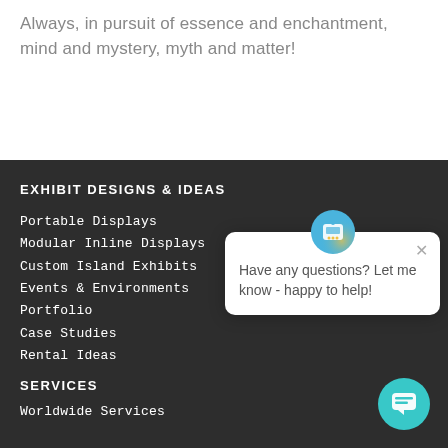Always, in pursuit of essence and enchantment, mind and mystery, myth and matter!
EXHIBIT DESIGNS & IDEAS
Portable Displays
Modular Inline Displays
Custom Island Exhibits
Events & Environments
Portfolio
Case Studies
Rental Ideas
[Figure (other): Chat popup widget with message: Have any questions? Let me know - happy to help! with close button and chat icon, and a teal circular chat button in the bottom right]
SERVICES
Worldwide Services